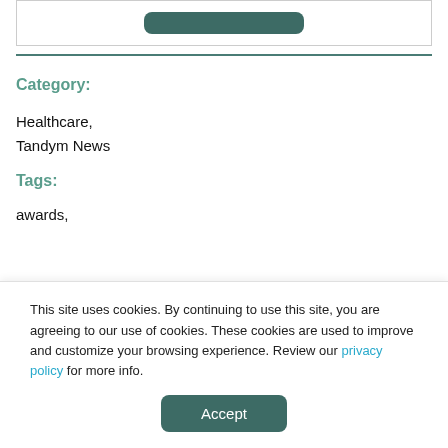[Figure (other): Dark teal rounded button shape at top of page inside a bordered box]
Category:
Healthcare,
Tandym News
Tags:
awards,
This site uses cookies. By continuing to use this site, you are agreeing to our use of cookies. These cookies are used to improve and customize your browsing experience. Review our privacy policy for more info.
Accept